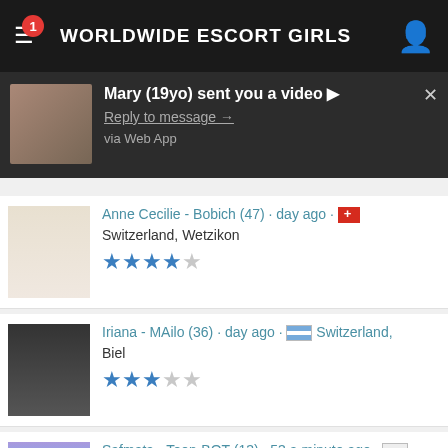WORLDWIDE ESCORT GIRLS
[Figure (screenshot): Push notification popup: Mary (19yo) sent you a video. Reply to message. via Web App.]
Anne Cecilie - Bobich (47) · day ago · Switzerland, Wetzikon ★★★★
Iriana - MAilo (36) · day ago · Switzerland, Biel ★★★☆☆
Safmata - Teen-BOT (13) · 53 a minute ago · Switzerland, Biel ★★★☆☆
Velvet Desire - Potapos (39) · 4 days ago · Switzerland, Uster ★★★★☆